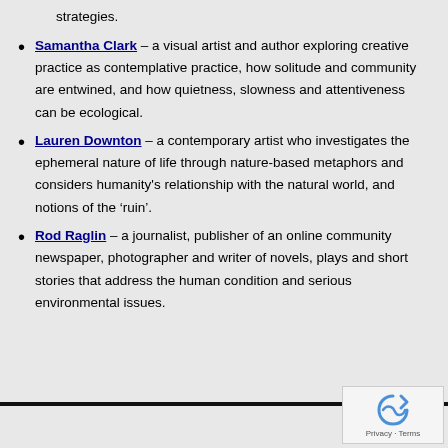strategies.
Samantha Clark – a visual artist and author exploring creative practice as contemplative practice, how solitude and community are entwined, and how quietness, slowness and attentiveness can be ecological.
Lauren Downton – a contemporary artist who investigates the ephemeral nature of life through nature-based metaphors and considers humanity's relationship with the natural world, and notions of the ‘ruin’.
Rod Raglin – a journalist, publisher of an online community newspaper, photographer and writer of novels, plays and short stories that address the human condition and serious environmental issues.